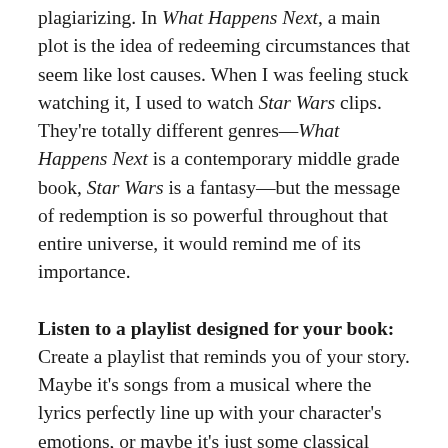plagiarizing. In What Happens Next, a main plot is the idea of redeeming circumstances that seem like lost causes. When I was feeling stuck watching it, I used to watch Star Wars clips. They're totally different genres—What Happens Next is a contemporary middle grade book, Star Wars is a fantasy—but the message of redemption is so powerful throughout that entire universe, it would remind me of its importance.
Listen to a playlist designed for your book: Create a playlist that reminds you of your story. Maybe it's songs from a musical where the lyrics perfectly line up with your character's emotions, or maybe it's just some classical pieces that put you in the right mindset, or maybe it's a twangy folk song you could imagine playing in the